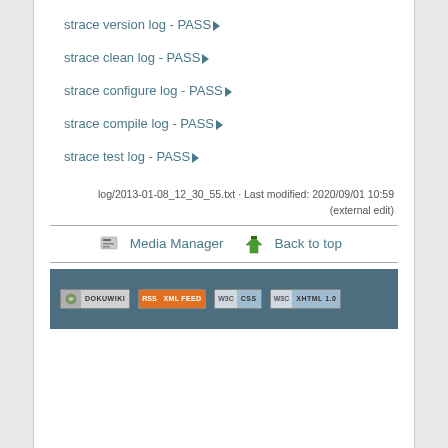strace version log - PASS▶
strace clean log - PASS▶
strace configure log - PASS▶
strace compile log - PASS▶
strace test log - PASS▶
log/2013-01-08_12_30_55.txt · Last modified: 2020/09/01 10:59 (external edit)
Media Manager   Back to top
[Figure (screenshot): Dark teal footer bar with badges: DokuWiki, RSS XML FEED, W3C CSS, W3C XHTML 1.0]